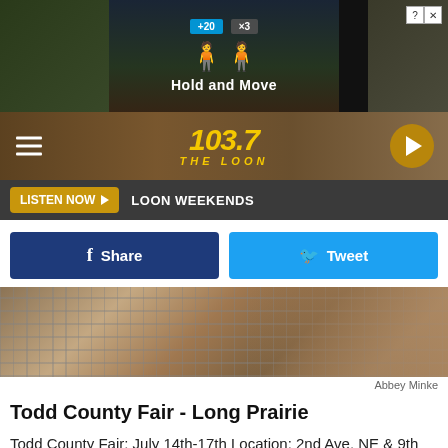[Figure (screenshot): Top advertisement banner showing a game ad with 'Hold and Move' text, score display, and player figures on a dark background with trees]
[Figure (logo): 103.7 The Loon radio station header with yellow italic logo on a brown/nature background, hamburger menu on left, play button on right]
LISTEN NOW ▶   LOON WEEKENDS
[Figure (screenshot): Facebook Share and Twitter Tweet social sharing buttons]
[Figure (photo): Close-up photo of a wire mesh cage or fence with grain/feed visible behind it, credited to Abbey Minke]
Abbey Minke
Todd County Fair - Long Prairie
Todd County Fair: July 14th-17th Location: 2nd Ave. NE & 9th St. NE Long Prairie,MN 56347
[Figure (screenshot): Bottom advertisement for BitLife game showing 'When Real Life Is Quarantined' text with rainbow stripe, egg character, BitLife logo, and emoji character]